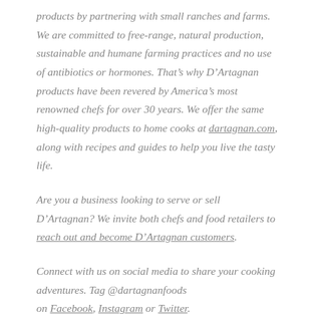products by partnering with small ranches and farms. We are committed to free-range, natural production, sustainable and humane farming practices and no use of antibiotics or hormones. That's why D'Artagnan products have been revered by America's most renowned chefs for over 30 years. We offer the same high-quality products to home cooks at dartagnan.com, along with recipes and guides to help you live the tasty life.
Are you a business looking to serve or sell D'Artagnan? We invite both chefs and food retailers to reach out and become D'Artagnan customers.
Connect with us on social media to share your cooking adventures. Tag @dartagnanfoods on Facebook, Instagram or Twitter.